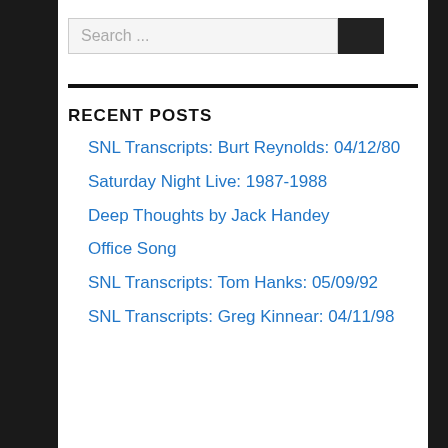Search ...
RECENT POSTS
SNL Transcripts: Burt Reynolds: 04/12/80
Saturday Night Live: 1987-1988
Deep Thoughts by Jack Handey
Office Song
SNL Transcripts: Tom Hanks: 05/09/92
SNL Transcripts: Greg Kinnear: 04/11/98